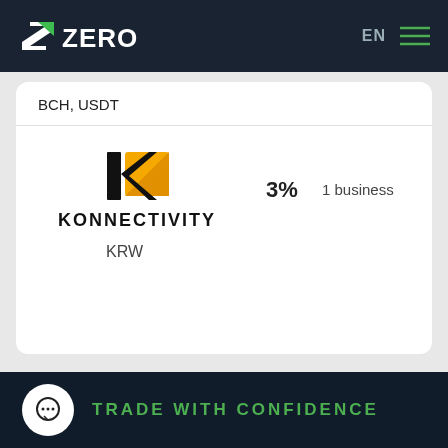ZERO | EN
BCH, USDT
[Figure (logo): KONNECTIVITY logo — black K with yellow/orange geometric triangle mark]
KONNECTIVITY
3%
1 business
KRW
TRADE WITH CONFIDENCE